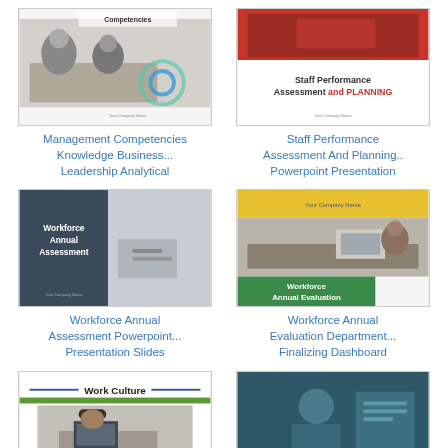[Figure (screenshot): Thumbnail of Management Competencies Knowledge Business Leadership Analytical presentation slide with people in meeting and circular graphic]
Management Competencies Knowledge Business... Leadership Analytical
[Figure (screenshot): Thumbnail of Staff Performance Assessment and PLANNING presentation with red header image and hands working on documents]
Staff Performance Assessment And Planning.. Powerpoint Presentation
[Figure (screenshot): Thumbnail of Workforce Annual Assessment presentation slide with dark left panel showing title and right panel with person writing]
Workforce Annual Assessment Powerpoint... Presentation Slides
[Figure (screenshot): Thumbnail of Workforce Annual Evaluation Department Finalizing Dashboard with yellow header, people at table, and green label]
Workforce Annual Evaluation Department... Finalizing Dashboard
[Figure (screenshot): Thumbnail of Work Culture presentation with decorative lines, bold title, and photo of people working with laptops]
[Figure (screenshot): Thumbnail of Employee Assessment presentation with teal/dark overlay and person in business setting]